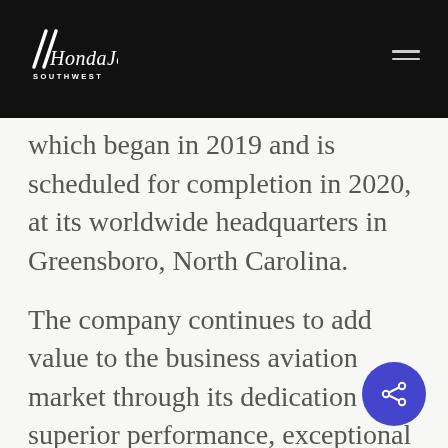HondaJet SOUTHWEST
which began in 2019 and is scheduled for completion in 2020, at its worldwide headquarters in Greensboro, North Carolina.
The company continues to add value to the business aviation market through its dedication to superior performance, exceptional fuel efficiency, and outstanding comfort that facilitate the professional and personal lives of HondaJet